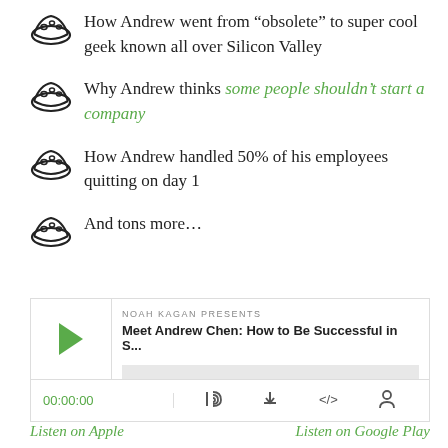How Andrew went from “obsolete” to super cool geek known all over Silicon Valley
Why Andrew thinks some people shouldn’t start a company
How Andrew handled 50% of his employees quitting on day 1
And tons more…
[Figure (screenshot): Audio player widget showing Noah Kagan Presents podcast episode 'Meet Andrew Chen: How to Be Successful in S...' with play button, progress bar, timestamp 00:00:00, and control icons for RSS, download, embed, and settings]
Listen on Apple     Listen on Google Play